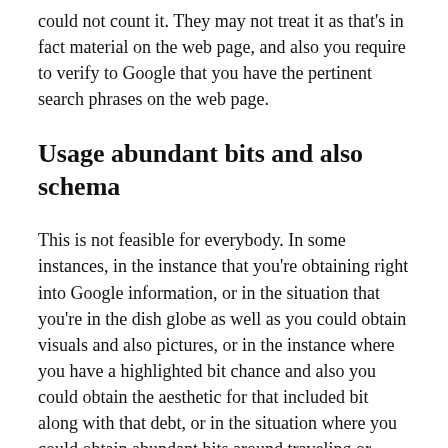could not count it. They may not treat it as that's in fact material on the web page, and also you require to verify to Google that you have the pertinent search phrases on the web page.
Usage abundant bits and also schema
This is not feasible for everybody. In some instances, in the instance that you're obtaining right into Google information, or in the situation that you're in the dish globe as well as you could obtain visuals and also pictures, or in the instance where you have a highlighted bit chance and also you could obtain the aesthetic for that included bit along with that debt, or in the situation where you could obtain abundant bits around traveling or around trips, various other verticals that schema is sustaining right currently, well, that's excellent. You need to capitalize on those chances.